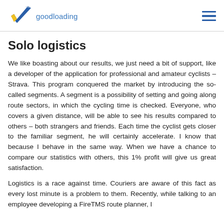goodloading
Solo logistics
We like boasting about our results, we just need a bit of support, like a developer of the application for professional and amateur cyclists – Strava. This program conquered the market by introducing the so-called segments. A segment is a possibility of setting and going along route sectors, in which the cycling time is checked. Everyone, who covers a given distance, will be able to see his results compared to others – both strangers and friends. Each time the cyclist gets closer to the familiar segment, he will certainly accelerate. I know that because I behave in the same way. When we have a chance to compare our statistics with others, this 1% profit will give us great satisfaction.
Logistics is a race against time. Couriers are aware of this fact as every lost minute is a problem to them. Recently, while talking to an employee developing a FireTMS route planner, I